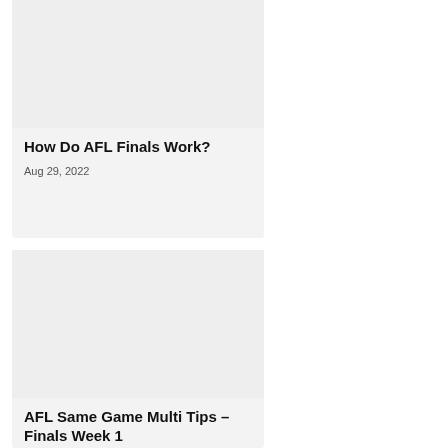[Figure (other): Gray placeholder image area for article card 1]
How Do AFL Finals Work?
Aug 29, 2022
[Figure (other): Gray placeholder image area for article card 2]
AFL Same Game Multi Tips – Finals Week 1